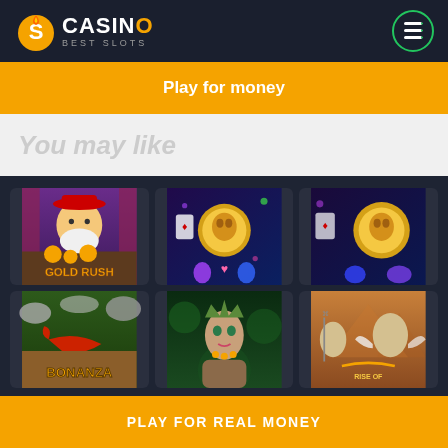Casino Best Slots
Play for money
You may like
[Figure (screenshot): Grid of 6 casino slot game thumbnails: Gold Rush, a gem/coin game, another coin game, Bonanza, a goddess/nature game, Rise of (Olympus)]
PLAY FOR REAL MONEY